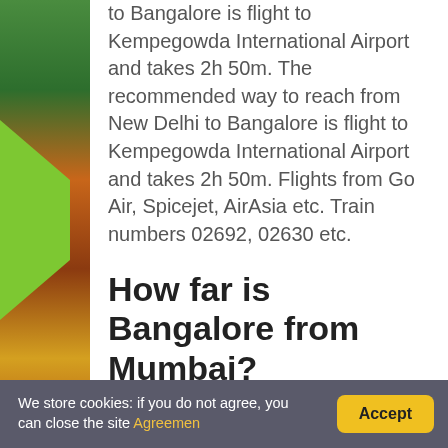to Bangalore is flight to Kempegowda International Airport and takes 2h 50m. The recommended way to reach from New Delhi to Bangalore is flight to Kempegowda International Airport and takes 2h 50m. Flights from Go Air, Spicejet, AirAsia etc. Train numbers 02692, 02630 etc.
How far is Bangalore from Mumbai?
Distance Between Bengaluru to Mumbai
We store cookies: if you do not agree, you can close the site Agreemen  Accept